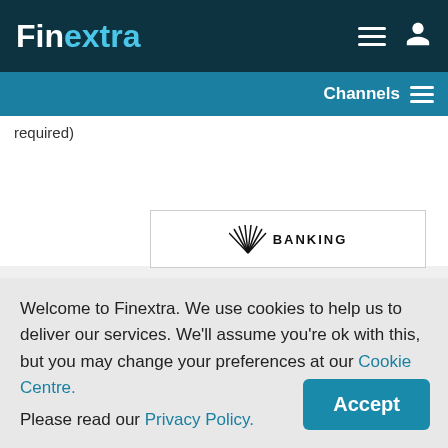Finextra
required)
[Figure (logo): Banking logo with stylized book/pages icon and text 'BANKING']
Welcome to Finextra. We use cookies to help us to deliver our services. We'll assume you're ok with this, but you may change your preferences at our Cookie Centre. Please read our Privacy Policy.